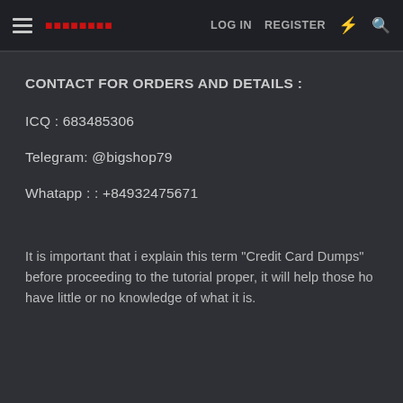≡ [logo] LOG IN  REGISTER ⚡ 🔍
CONTACT FOR ORDERS AND DETAILS :
ICQ : 683485306
Telegram: @bigshop79
Whatapp : : +84932475671
It is important that i explain this term "Credit Card Dumps" before proceeding to the tutorial proper, it will help those ho have little or no knowledge of what it is.